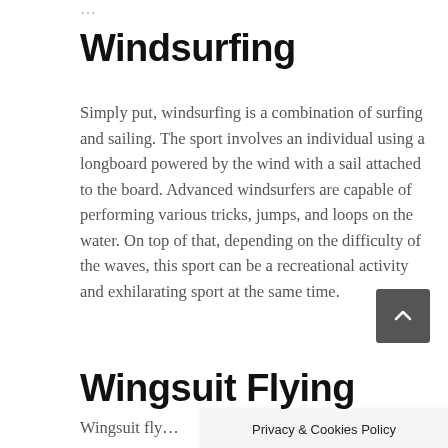…
Windsurfing
Simply put, windsurfing is a combination of surfing and sailing. The sport involves an individual using a longboard powered by the wind with a sail attached to the board. Advanced windsurfers are capable of performing various tricks, jumps, and loops on the water. On top of that, depending on the difficulty of the waves, this sport can be a recreational activity and exhilarating sport at the same time.
Wingsuit Flying
Wingsuit fly…
Privacy & Cookies Policy